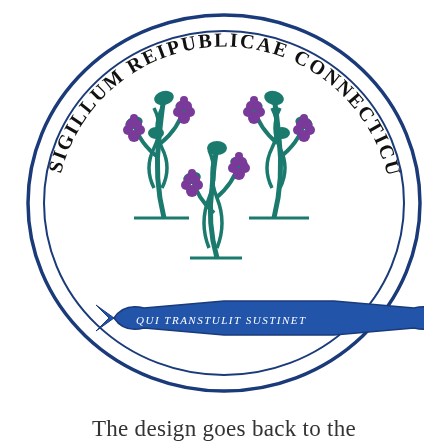[Figure (logo): Connecticut State Seal - oval seal with three grapevines bearing purple grapes on teal/green stalks, a blue ribbon banner reading 'QUI TRANSTULIT SUSTINET', surrounded by text 'SIGILLUM REIPUBLICAE CONNECTICUTENSIS' in black serif letters around the outer ring, with blue oval border lines]
The design goes back to the